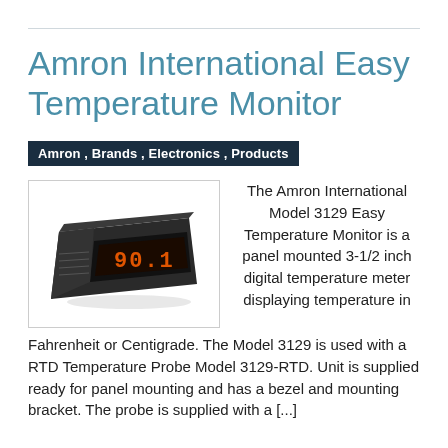Amron International Easy Temperature Monitor
Amron , Brands , Electronics , Products
[Figure (photo): Amron International Model 3129 Easy Temperature Monitor device showing a black panel-mounted digital temperature meter with red LED display reading 90.1]
The Amron International Model 3129 Easy Temperature Monitor is a panel mounted 3-1/2 inch digital temperature meter displaying temperature in Fahrenheit or Centigrade. The Model 3129 is used with a RTD Temperature Probe Model 3129-RTD. Unit is supplied ready for panel mounting and has a bezel and mounting bracket. The probe is supplied with a [...]